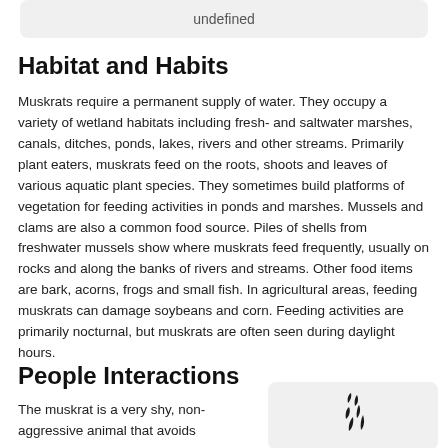undefined
Habitat and Habits
Muskrats require a permanent supply of water. They occupy a variety of wetland habitats including fresh- and saltwater marshes, canals, ditches, ponds, lakes, rivers and other streams. Primarily plant eaters, muskrats feed on the roots, shoots and leaves of various aquatic plant species. They sometimes build platforms of vegetation for feeding activities in ponds and marshes. Mussels and clams are also a common food source. Piles of shells from freshwater mussels show where muskrats feed frequently, usually on rocks and along the banks of rivers and streams. Other food items are bark, acorns, frogs and small fish. In agricultural areas, feeding muskrats can damage soybeans and corn. Feeding activities are primarily nocturnal, but muskrats are often seen during daylight hours.
People Interactions
The muskrat is a very shy, non-aggressive animal that avoids
[Figure (illustration): Illustration of muskrat tracks or footprints, showing black marks resembling animal tracks on a light grey rounded-rectangle background.]